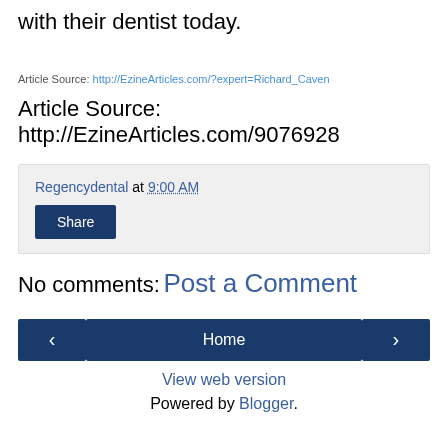with their dentist today.
Article Source: http://EzineArticles.com/?expert=Richard_Caven
Article Source: http://EzineArticles.com/9076928
Regencydental at 9:00 AM
Share
No comments:
Post a Comment
Home
View web version
Powered by Blogger.